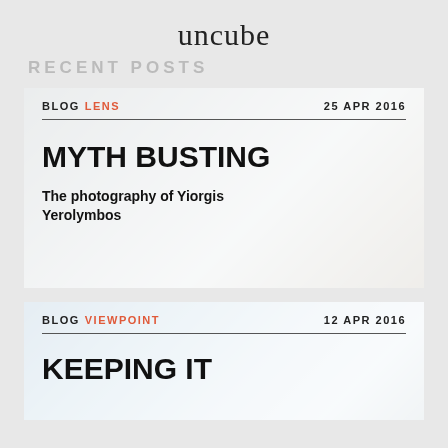uncube
RECENT POSTS
[Figure (screenshot): Blog card with background photo of industrial/architectural building. Card shows: BLOG LENS | 25 APR 2016. Title: MYTH BUSTING. Subtitle: The photography of Yiorgis Yerolymbos]
[Figure (screenshot): Blog card with background photo of snowy/winter scene. Card shows: BLOG VIEWPOINT | 12 APR 2016. Title (partial): KEEPING IT]